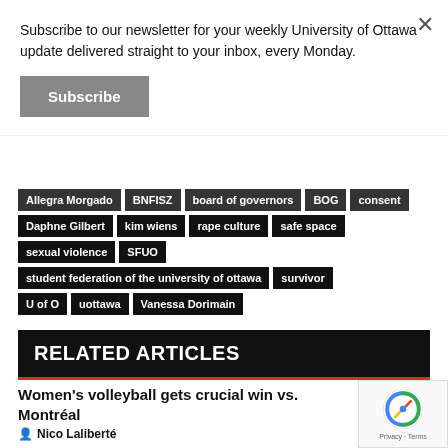Subscribe to our newsletter for your weekly University of Ottawa update delivered straight to your inbox, every Monday.
Subscribe
Allegra Morgado
BNFISZ
board of governors
BOG
consent
Daphne Gilbert
kim wiens
rape culture
safe space
sexual violence
SFUO
student federation of the university of ottawa
survivor
U of O
uottawa
Vanessa Dorimain
RELATED ARTICLES
Women's volleyball gets crucial win vs. Montréal
Nico Laliberté